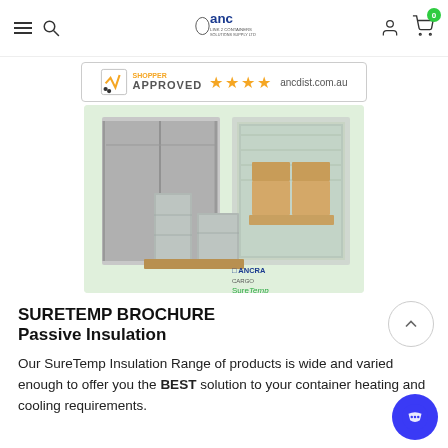ANC Logo, navigation menu, search, user icon, cart (0)
[Figure (logo): Shopper Approved badge with 4 orange stars and ancdist.com.au]
[Figure (photo): SureTemp insulation product photo showing shipping containers with insulation lining and pallets wrapped in insulation material]
SURETEMP BROCHURE
Passive Insulation
Our SureTemp Insulation Range of products is wide and varied enough to offer you the BEST solution to your container heating and cooling requirements.